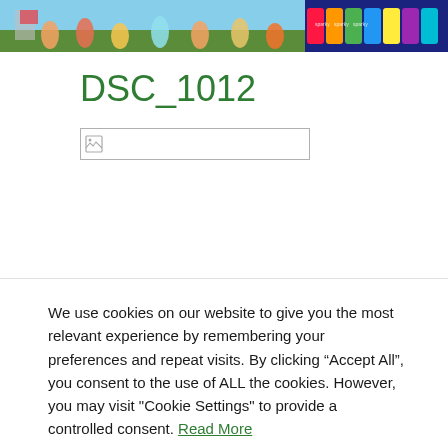[Figure (photo): Two photos side by side at top: left shows children running outdoors on grass, right shows colorful snack product packages (Sparky's brand) arranged together.]
DSC_1012
[Figure (photo): A broken/missing image placeholder — a small icon with a border rectangle, indicating an image that failed to load.]
We use cookies on our website to give you the most relevant experience by remembering your preferences and repeat visits. By clicking “Accept All”, you consent to the use of ALL the cookies. However, you may visit "Cookie Settings" to provide a controlled consent. Read More
Cookie Settings
Accept All